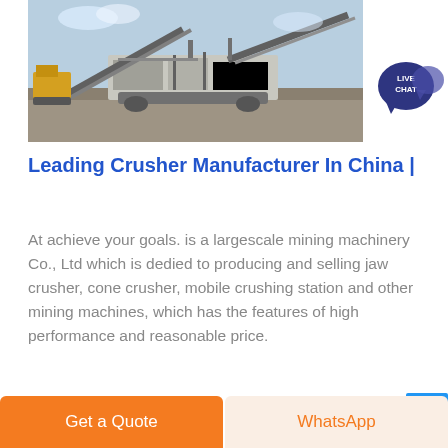[Figure (photo): Outdoor photo of a large mobile mining/crushing machine on a dirt field, with conveyor belts and heavy equipment visible, under a partly cloudy blue sky.]
Leading Crusher Manufacturer In China |
At achieve your goals. is a largescale mining machinery Co., Ltd which is dedied to producing and selling jaw crusher, cone crusher, mobile crushing station and other mining machines, which has the features of high performance and reasonable price.
GET PRICE